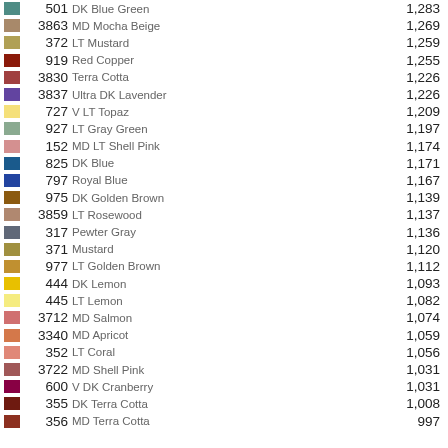| swatch | number | name | count |
| --- | --- | --- | --- |
| 501 | DK Blue Green | 1,283 |
| 3863 | MD Mocha Beige | 1,269 |
| 372 | LT Mustard | 1,259 |
| 919 | Red Copper | 1,255 |
| 3830 | Terra Cotta | 1,226 |
| 3837 | Ultra DK Lavender | 1,226 |
| 727 | V LT Topaz | 1,209 |
| 927 | LT Gray Green | 1,197 |
| 152 | MD LT Shell Pink | 1,174 |
| 825 | DK Blue | 1,171 |
| 797 | Royal Blue | 1,167 |
| 975 | DK Golden Brown | 1,139 |
| 3859 | LT Rosewood | 1,137 |
| 317 | Pewter Gray | 1,136 |
| 371 | Mustard | 1,120 |
| 977 | LT Golden Brown | 1,112 |
| 444 | DK Lemon | 1,093 |
| 445 | LT Lemon | 1,082 |
| 3712 | MD Salmon | 1,074 |
| 3340 | MD Apricot | 1,059 |
| 352 | LT Coral | 1,056 |
| 3722 | MD Shell Pink | 1,031 |
| 600 | V DK Cranberry | 1,031 |
| 355 | DK Terra Cotta | 1,008 |
| 356 | MD Terra Cotta | 997 |